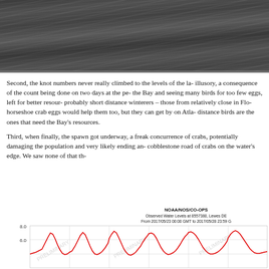[Figure (photo): Dark aerial or close-up photograph with streaked texture, appearing to show water or a dark surface with light streaks]
Second, the knot numbers never really climbed to the levels of the la- illusory, a consequence of the count being done on two days at the pe- the Bay and seeing many birds for too few eggs, left for better resour- probably short distance winterers – those from relatively close in Flo- horseshoe crab eggs would help them too, but they can get by on Atla- distance birds are the ones that need the Bay's resources.
Third, when finally, the spawn got underway, a freak concurrence of crabs, potentially damaging the population and very likely ending an- cobblestone road of crabs on the water's edge. We saw none of that th-
[Figure (continuous-plot): NOAA/NOS/CO-OPS Observed Water Levels at 8557380, Lewes DE, From 2017/05/23 00:00 GMT to 2017/05/28 23:59. Line chart showing tidal water levels with red line indicating observed levels ranging approximately 4.0 to 8.0 feet, with PRELIMINARY watermark repeated across chart.]